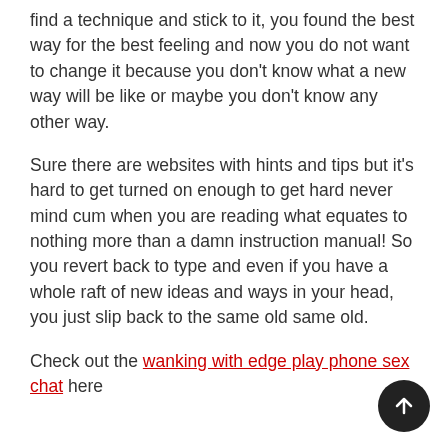find a technique and stick to it, you found the best way for the best feeling and now you do not want to change it because you don't know what a new way will be like or maybe you don't know any other way.
Sure there are websites with hints and tips but it's hard to get turned on enough to get hard never mind cum when you are reading what equates to nothing more than a damn instruction manual! So you revert back to type and even if you have a whole raft of new ideas and ways in your head, you just slip back to the same old same old.
Check out the wanking with edge play phone sex chat here